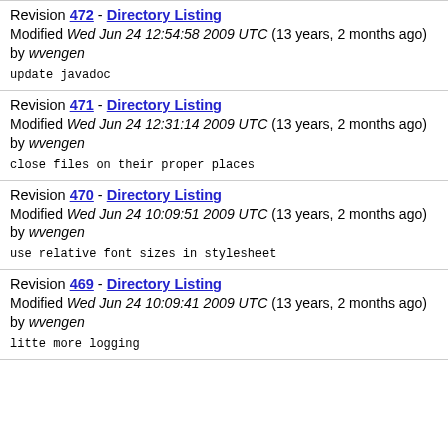Revision 472 - Directory Listing
Modified Wed Jun 24 12:54:58 2009 UTC (13 years, 2 months ago) by wvengen
update javadoc
Revision 471 - Directory Listing
Modified Wed Jun 24 12:31:14 2009 UTC (13 years, 2 months ago) by wvengen
close files on their proper places
Revision 470 - Directory Listing
Modified Wed Jun 24 10:09:51 2009 UTC (13 years, 2 months ago) by wvengen
use relative font sizes in stylesheet
Revision 469 - Directory Listing
Modified Wed Jun 24 10:09:41 2009 UTC (13 years, 2 months ago) by wvengen
litte more logging